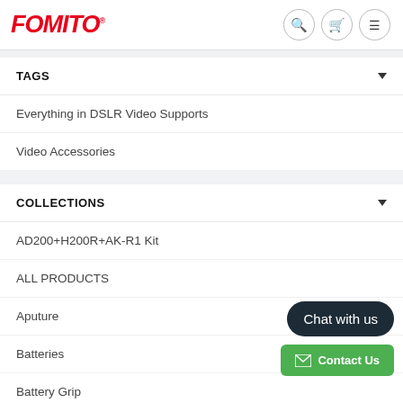FOMITO
TAGS
Everything in DSLR Video Supports
Video Accessories
COLLECTIONS
AD200+H200R+AK-R1 Kit
ALL PRODUCTS
Aputure
Batteries
Battery Grip